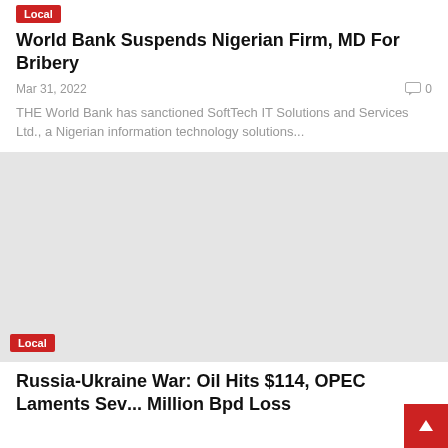Local
World Bank Suspends Nigerian Firm, MD For Bribery
Mar 31, 2022   0
THE World Bank has sanctioned SoftTech IT Solutions and Services Ltd., a Nigerian information technology solutions...
[Figure (photo): Grey placeholder image with 'Local' tag label at bottom left]
Russia-Ukraine War: Oil Hits $114, OPEC Laments Sev... Million Bpd Loss